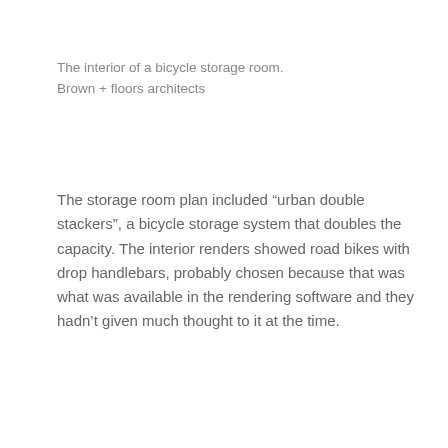The interior of a bicycle storage room.
Brown + floors architects
The storage room plan included “urban double stackers”, a bicycle storage system that doubles the capacity. The interior renders showed road bikes with drop handlebars, probably chosen because that was what was available in the rendering software and they hadn’t given much thought to it at the time.